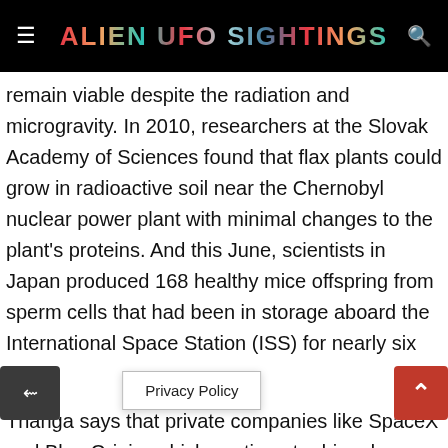ALIEN UFO SIGHTINGS
remain viable despite the radiation and microgravity. In 2010, researchers at the Slovak Academy of Sciences found that flax plants could grow in radioactive soil near the Chernobyl nuclear power plant with minimal changes to the plant's proteins. And this June, scientists in Japan produced 168 healthy mice offspring from sperm cells that had been in storage aboard the International Space Station (ISS) for nearly six years.
Thanga says that private companies like SpaceX and Blue Origin, which continue to drive down the cost of space launches, further bolster the like[lihood of esta]blishing [a colony. With one decade of the…]